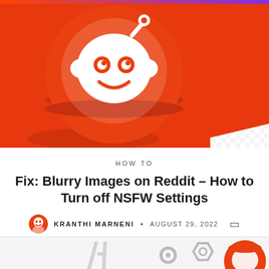[Figure (illustration): 3D Reddit alien logo (Snoo) in orange on a red and checkered background]
HOW TO
Fix: Blurry Images on Reddit – How to Turn off NSFW Settings
KRANTHI MARNENI • AUGUST 29, 2022
[Figure (illustration): Partially visible illustration showing tools and Reddit character at bottom of page]